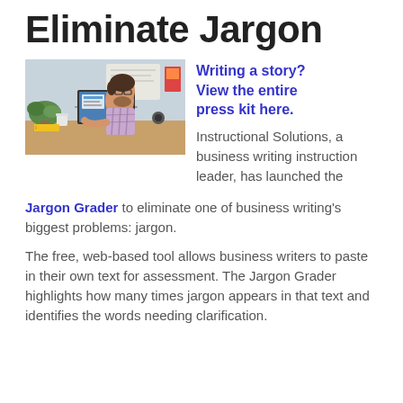Eliminate Jargon
[Figure (photo): Person working at a laptop computer at a desk, viewed from the side, in a casual office setting with plants and items on the desk]
Writing a story? View the entire press kit here.
Instructional Solutions, a business writing instruction leader, has launched the Jargon Grader to eliminate one of business writing's biggest problems: jargon.
The free, web-based tool allows business writers to paste in their own text for assessment. The Jargon Grader highlights how many times jargon appears in that text and identifies the words needing clarification.